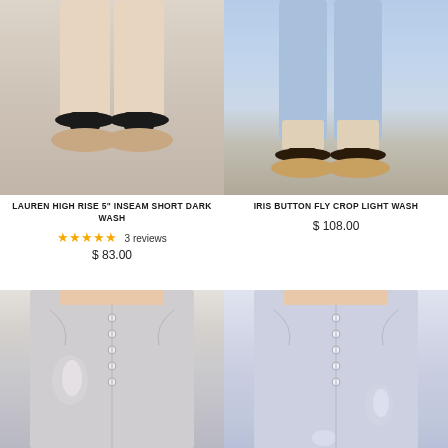[Figure (screenshot): E-commerce product listing page with filter and sort toolbar, showing four clothing/footwear products in a 2x2 grid]
Filter
Sort
[Figure (photo): Close-up of feet wearing black thong sandals on a plain background]
LAUREN HIGH RISE 5" INSEAM SHORT DARK WASH
★★★★★ 3 reviews
$ 83.00
[Figure (photo): Close-up of legs in light wash jeans and brown thong sandals]
IRIS BUTTON FLY CROP LIGHT WASH
$ 108.00
[Figure (photo): Close-up of gray/white distressed button-fly jeans on a model]
[Figure (photo): Close-up of light blue distressed button-fly jeans on a model]